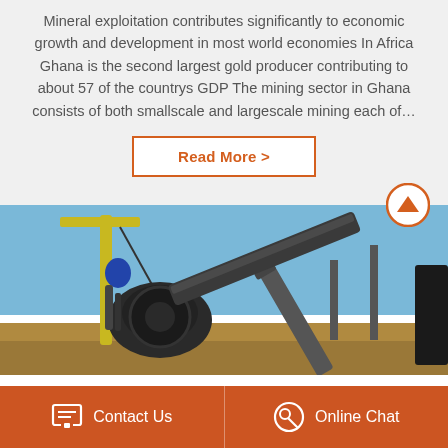Mineral exploitation contributes significantly to economic growth and development in most world economies In Africa Ghana is the second largest gold producer contributing to about 57 of the countrys GDP The mining sector in Ghana consists of both smallscale and largescale mining each of…
Read More >
[Figure (photo): Mining equipment at an open-pit mine site, showing heavy machinery including a yellow crane/excavator and conveyor belt structures against a blue sky background]
Contact Us
Online Chat